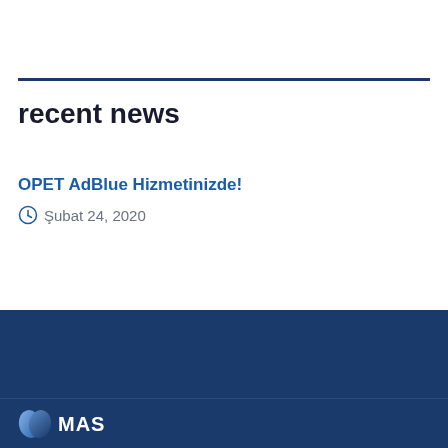recent news
OPET AdBlue Hizmetinizde!
Şubat 24, 2020
[Figure (logo): MAS company logo in white on dark blue background, showing stylized M letter mark followed by MAS text]